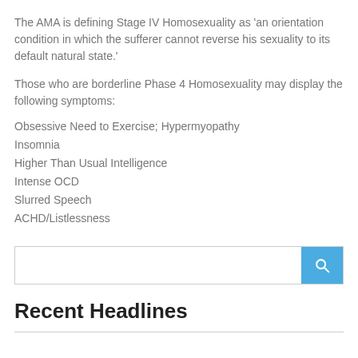The AMA is defining Stage IV Homosexuality as 'an orientation condition in which the sufferer cannot reverse his sexuality to its default natural state.'
Those who are borderline Phase 4 Homosexuality may display the following symptoms:
Obsessive Need to Exercise; Hypermyopathy
Insomnia
Higher Than Usual Intelligence
Intense OCD
Slurred Speech
ACHD/Listlessness
[Figure (other): Search bar with blue search button containing a magnifying glass icon]
Recent Headlines